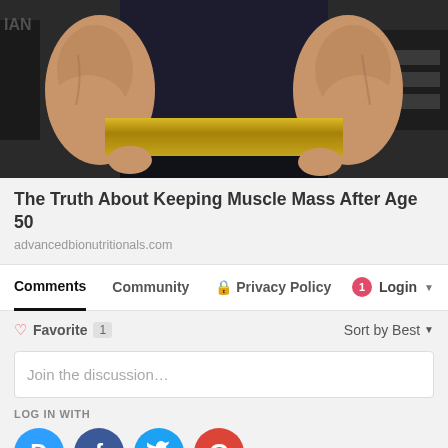[Figure (photo): Muscular person in a gym wearing a black tank top and a gold/brass weightlifting belt, arms visible showing defined muscles, gym equipment in background]
The Truth About Keeping Muscle Mass After Age 50
advancedbionutritionals.com
Comments  Community  Privacy Policy  Login
Favorite  1    Sort by Best
Join the discussion…
LOG IN WITH
[Figure (illustration): Social login icons: Disqus (blue circle with D), Facebook (dark blue circle with f), Twitter (light blue circle with bird), Google (red circle with G)]